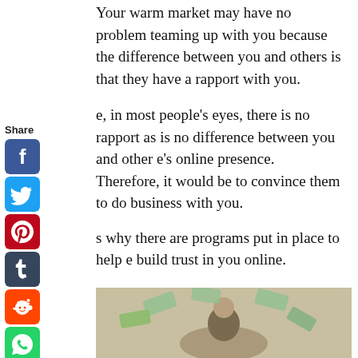Your warm market may have no problem teaming up with you because the difference between you and others is that they have a rapport with you.
e, in most people's eyes, there is no rapport as is no difference between you and other e's online presence. Therefore, it would be to convince them to do business with you.
s why there are programs put in place to help e build trust in you online.
thical MLM methods using the Internet
[Figure (photo): Photo of person with money/cash flying around]